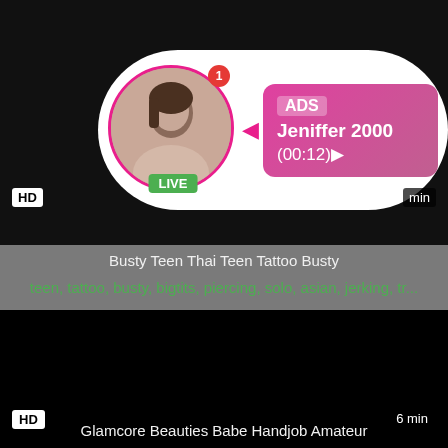[Figure (screenshot): Video thumbnail – dark/black background with HD badge and min label, overlaid with ADS popup showing avatar with LIVE badge and notification, gradient pink content card with name Jeniffer 2000 and time (00:12)]
Busty Teen Thai Teen Tattoo Busty
teen, tattoo, busty, bigtits, piercing, solo, asian, jerking, tr...
[Figure (screenshot): Video thumbnail – black/dark background with HD badge bottom-left and 6 min label bottom-right]
Glamcore Beauties Babe Handjob Amateur